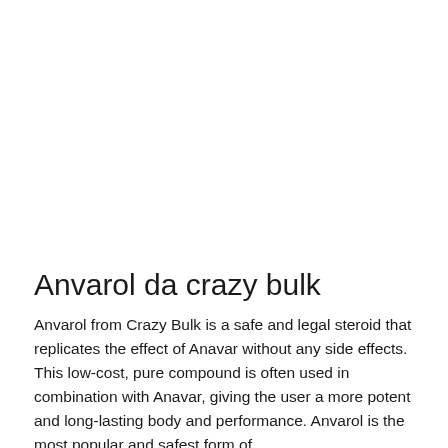Anvarol da crazy bulk
Anvarol from Crazy Bulk is a safe and legal steroid that replicates the effect of Anavar without any side effects. This low-cost, pure compound is often used in combination with Anavar, giving the user a more potent and long-lasting body and performance. Anvarol is the most popular and safest form of